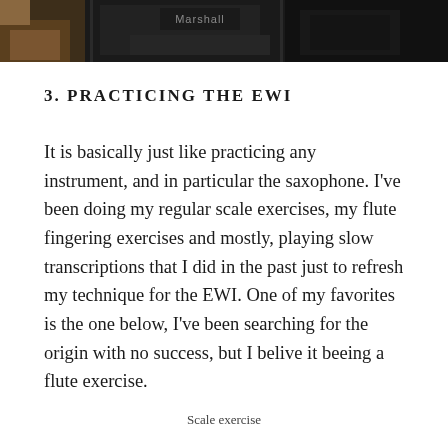[Figure (photo): Dark photograph of a music studio/stage setup showing Marshall amplifier and equipment in background]
3. PRACTICING THE EWI
It is basically just like practicing any instrument, and in particular the saxophone. I've been doing my regular scale exercises, my flute fingering exercises and mostly, playing slow transcriptions that I did in the past just to refresh my technique for the EWI. One of my favorites is the one below, I've been searching for the origin with no success, but I belive it beeing a flute exercise.
Scale exercise